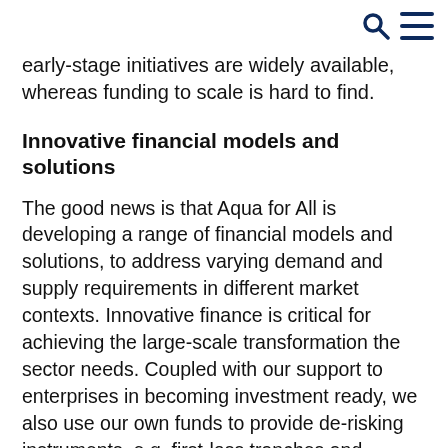early-stage initiatives are widely available, whereas funding to scale is hard to find.
Innovative financial models and solutions
The good news is that Aqua for All is developing a range of financial models and solutions, to address varying demand and supply requirements in different market contexts. Innovative finance is critical for achieving the large-scale transformation the sector needs. Coupled with our support to enterprises in becoming investment ready, we also use our own funds to provide de-risking instruments, e.g. first-loss tranches and guarantees. This catalyses new sources of finance for viable water and sanitation solutions.
Impact incentives, leasing arrangements, franchise